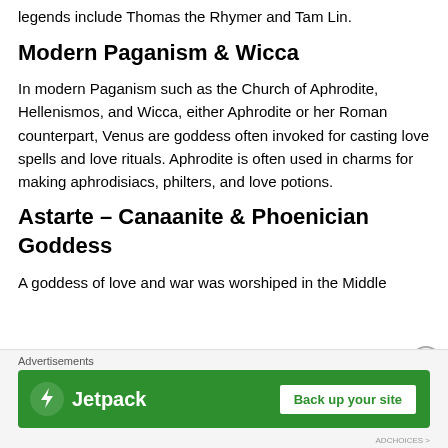legends include Thomas the Rhymer and Tam Lin.
Modern Paganism & Wicca
In modern Paganism such as the Church of Aphrodite, Hellenismos, and Wicca, either Aphrodite or her Roman counterpart, Venus are goddess often invoked for casting love spells and love rituals. Aphrodite is often used in charms for making aphrodisiacs, philters, and love potions.
Astarte – Canaanite & Phoenician Goddess
A goddess of love and war was worshiped in the Middle
[Figure (infographic): Jetpack advertisement banner with green background, Jetpack logo and lightning bolt icon on left, and 'Back up your site' button on right. Labeled 'Advertisements' above.]